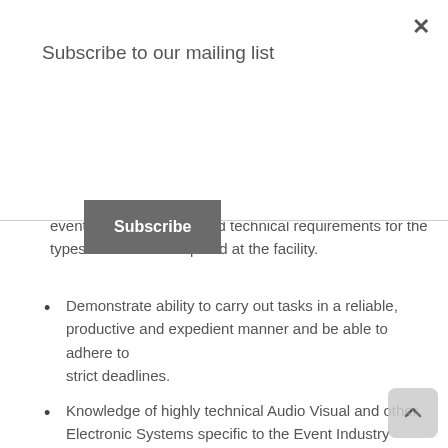Subscribe to our mailing list
Subscribe
event-related services and technical requirements for the types of events anticipated at the facility.
Demonstrate ability to carry out tasks in a reliable, productive and expedient manner and be able to adhere to strict deadlines.
Knowledge of highly technical Audio Visual and other Electronic Systems specific to the Event Industry
Ability to read, understand and implement artists riders.
Knowledge of fire and public safety regulations
Working knowledge of standard trade tools and equipment.
Must be able to operate under extreme deadlines and within